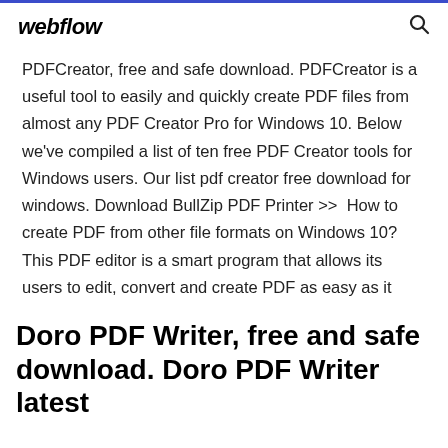webflow
PDFCreator, free and safe download. PDFCreator is a useful tool to easily and quickly create PDF files from almost any PDF Creator Pro for Windows 10. Below we've compiled a list of ten free PDF Creator tools for Windows users. Our list pdf creator free download for windows. Download BullZip PDF Printer >>  How to create PDF from other file formats on Windows 10? This PDF editor is a smart program that allows its users to edit, convert and create PDF as easy as it
Doro PDF Writer, free and safe download. Doro PDF Writer latest